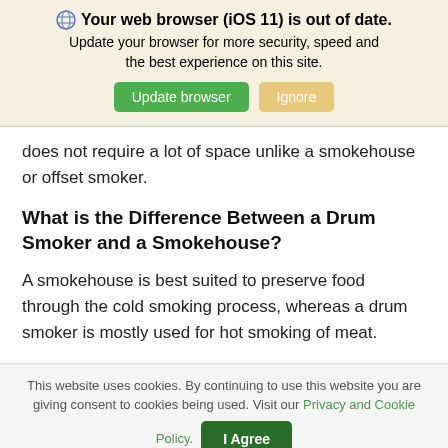🌐 Your web browser (iOS 11) is out of date. Update your browser for more security, speed and the best experience on this site. [Update browser] [Ignore]
does not require a lot of space unlike a smokehouse or offset smoker.
What is the Difference Between a Drum Smoker and a Smokehouse?
A smokehouse is best suited to preserve food through the cold smoking process, whereas a drum smoker is mostly used for hot smoking of meat.
This website uses cookies. By continuing to use this website you are giving consent to cookies being used. Visit our Privacy and Cookie Policy. [I Agree]